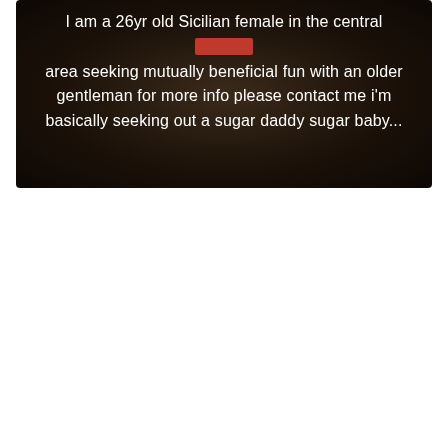[Figure (photo): Dark blurred background image with white text overlay reading: 'I am a 26yr old Sicilian female in the central [redacted] area seeking mutually beneficial fun with an older gentleman for more info please contact me i'm basically seeking out a sugar daddy sugar baby...']